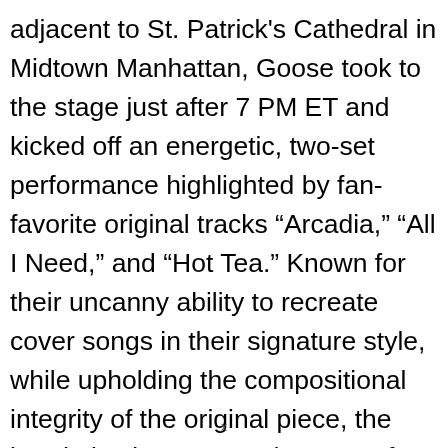adjacent to St. Patrick's Cathedral in Midtown Manhattan, Goose took to the stage just after 7 PM ET and kicked off an energetic, two-set performance highlighted by fan-favorite original tracks “Arcadia,” “All I Need,” and “Hot Tea.” Known for their uncanny ability to recreate cover songs in their signature style, while upholding the compositional integrity of the original piece, the band also incorporated covers of Vince Guaraldi’s “Linus and Lucy,” Pat Benatar’s “Love is a Battlefield,” and Jackie Wilson’s “Higher and Higher” into the
x